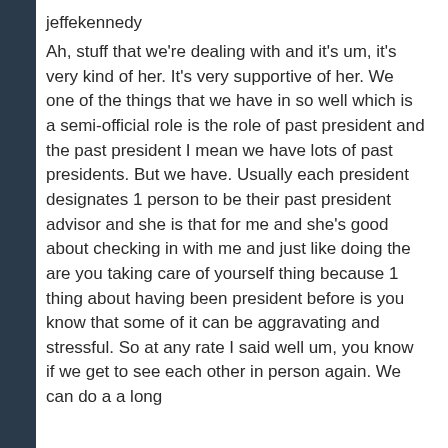jeffekennedy
Ah, stuff that we're dealing with and it's um, it's very kind of her. It's very supportive of her. We one of the things that we have in so well which is a semi-official role is the role of past president and the past president I mean we have lots of past presidents. But we have. Usually each president designates 1 person to be their past president advisor and she is that for me and she's good about checking in with me and just like doing the are you taking care of yourself thing because 1 thing about having been president before is you know that some of it can be aggravating and stressful. So at any rate I said well um, you know if we get to see each other in person again. We can do a a long